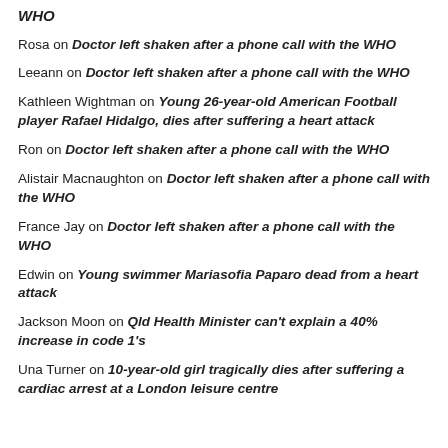WHO
Rosa on Doctor left shaken after a phone call with the WHO
Leeann on Doctor left shaken after a phone call with the WHO
Kathleen Wightman on Young 26-year-old American Football player Rafael Hidalgo, dies after suffering a heart attack
Ron on Doctor left shaken after a phone call with the WHO
Alistair Macnaughton on Doctor left shaken after a phone call with the WHO
France Jay on Doctor left shaken after a phone call with the WHO
Edwin on Young swimmer Mariasofia Paparo dead from a heart attack
Jackson Moon on Qld Health Minister can't explain a 40% increase in code 1's
Una Turner on 10-year-old girl tragically dies after suffering a cardiac arrest at a London leisure centre